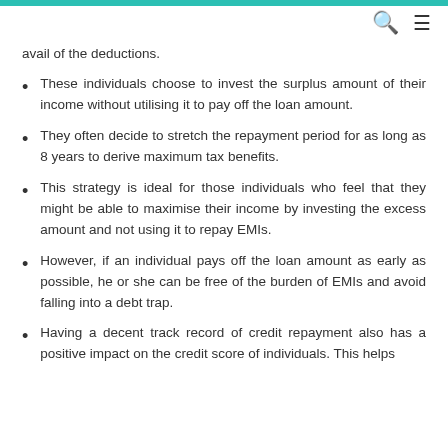avail of the deductions.
These individuals choose to invest the surplus amount of their income without utilising it to pay off the loan amount.
They often decide to stretch the repayment period for as long as 8 years to derive maximum tax benefits.
This strategy is ideal for those individuals who feel that they might be able to maximise their income by investing the excess amount and not using it to repay EMIs.
However, if an individual pays off the loan amount as early as possible, he or she can be free of the burden of EMIs and avoid falling into a debt trap.
Having a decent track record of credit repayment also has a positive impact on the credit score of individuals. This helps